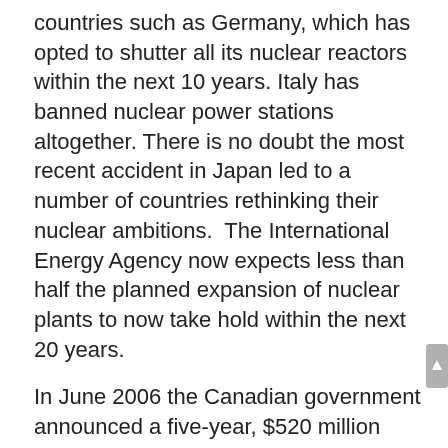countries such as Germany, which has opted to shutter all its nuclear reactors within the next 10 years. Italy has banned nuclear power stations altogether. There is no doubt the most recent accident in Japan led to a number of countries rethinking their nuclear ambitions. The International Energy Agency now expects less than half the planned expansion of nuclear plants to now take hold within the next 20 years.
In June 2006 the Canadian government announced a five-year, $520 million programme to clean up legacy wastes from research and development on nuclear power and medical isotopes as well as military activities conducted as far back as the late 1940s. The Canadian Nuclear Safety Commission (CNSC) was set up in 2000 as a successor to the Atomic Energy Control Board, which came into existence in 1946 as the national